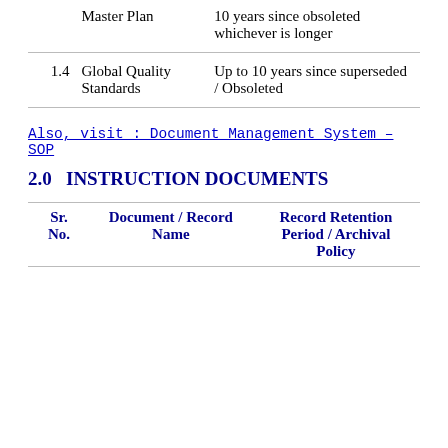|  | Document / Record Name | Record Retention Period / Archival Policy |
| --- | --- | --- |
|  | Master Plan | 10 years since obsoleted whichever is longer |
| 1.4 | Global Quality Standards | Up to 10 years since superseded / Obsoleted |
Also, visit : Document Management System – SOP
2.0   INSTRUCTION DOCUMENTS
| Sr. No. | Document / Record Name | Record Retention Period / Archival Policy |
| --- | --- | --- |